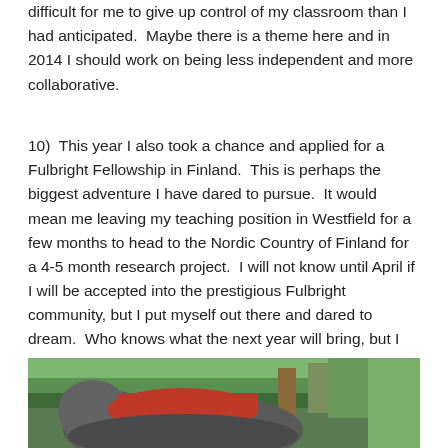difficult for me to give up control of my classroom than I had anticipated.  Maybe there is a theme here and in 2014 I should work on being less independent and more collaborative.
10)  This year I also took a chance and applied for a Fulbright Fellowship in Finland.  This is perhaps the biggest adventure I have dared to pursue.  It would mean me leaving my teaching position in Westfield for a few months to head to the Nordic Country of Finland for a 4-5 month research project.  I will not know until April if I will be accepted into the prestigious Fulbright community, but I put myself out there and dared to dream.  Who knows what the next year will bring, but I think I can content that 2013 was an amazing year.
[Figure (photo): Partial photo of what appears to be an elephant with a red saddle or covering, surrounded by greenery/trees in the background.]